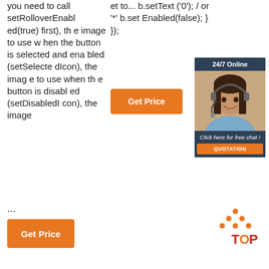you need to call setRolloverEnabled(true) first), the image to use when the button is selected and enabled (setSelectedIcon), the image to use when the button is disabled (setDisabledIcon), the image ...
et to... b.setText('0'); / or '*' b.setEnabled(false); }
});
[Figure (other): Orange 'Get Price' button (top)]
[Figure (other): Advertisement panel: '24/7 Online' header, photo of woman with headset, 'Click here for free chat!' text, orange 'QUOTATION' button]
...
[Figure (other): Orange 'Get Price' button (bottom)]
[Figure (logo): TOP logo with orange dots arranged in triangle above red 'TOP' text]